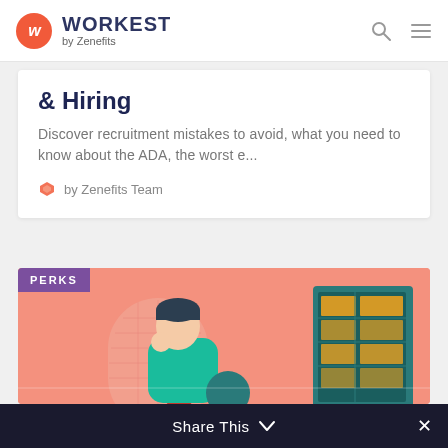WORKEST by Zenefits
& Hiring
Discover recruitment mistakes to avoid, what you need to know about the ADA, the worst e...
by Zenefits Team
[Figure (illustration): Illustration of a person sitting at a table looking bored or tired near a vending machine, on a pink/salmon background. A purple 'PERKS' badge is in the top-left corner.]
Share This ∨  ×